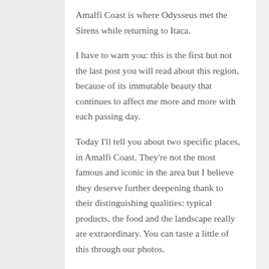Amalfi Coast is where Odysseus met the Sirens while returning to Itaca.
I have to warn you: this is the first but not the last post you will read about this region, because of its immutable beauty that continues to affect me more and more with each passing day.
Today I'll tell you about two specific places, in Amalfi Coast. They're not the most famous and iconic in the area but I believe they deserve further deepening thank to their distinguishing qualities: typical products, the food and the landscape really are extraordinary. You can taste a little of this through our photos.
The perfect period of the year to visit this